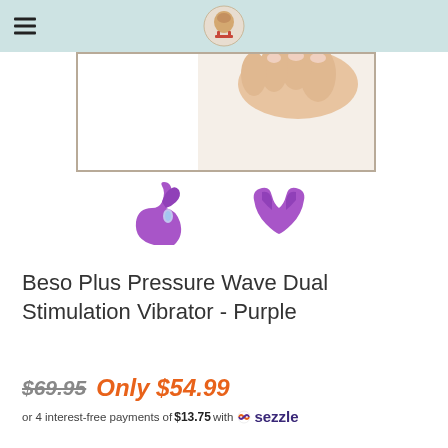Navigation header with hamburger menu and logo
[Figure (photo): Product photo showing hand holding purple dual stimulation vibrator toy, partially cropped at top]
[Figure (photo): Two thumbnail views of the Beso Plus purple vibrator from different angles]
Beso Plus Pressure Wave Dual Stimulation Vibrator - Purple
$69.95 Only $54.99
or 4 interest-free payments of $13.75 with Sezzle